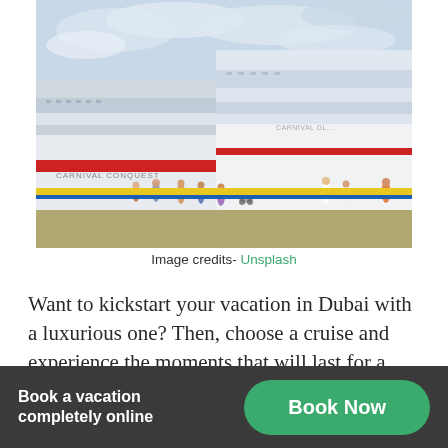[Figure (photo): Two large Carnival cruise ships (Carnival Conquest and Carnival Glory) docked at a port with passengers walking on the yellow-edged pier under a cloudy sky.]
Image credits- Unsplash
Want to kickstart your vacation in Dubai with a luxurious one? Then, choose a cruise and experience the moments that will last for a lifetime. Then, there are plenty of options for you to choose
Book a vacation completely online
Book Now